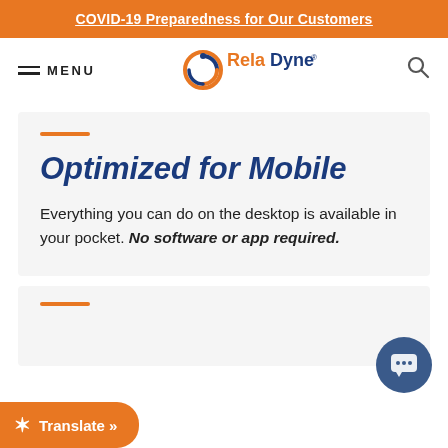COVID-19 Preparedness for Our Customers
[Figure (logo): RelaDyne logo with orange and blue circular swirl icon and blue/orange wordmark]
Optimized for Mobile
Everything you can do on the desktop is available in your pocket. No software or app required.
[Figure (other): Partially visible second content section with orange underline decoration at bottom of page]
[Figure (other): Chat button circle in dark blue at bottom right]
Translate »